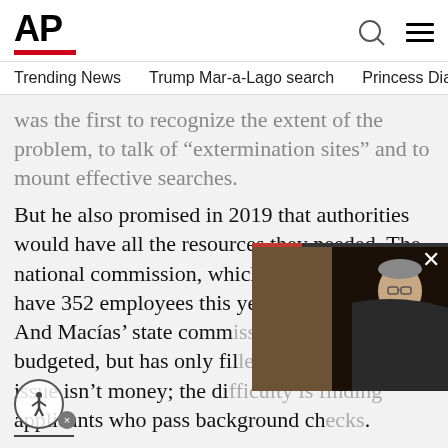AP
Trending News   Trump Mar-a-Lago search   Princess Diana's dea
was the first to recognize the extent of the problem, to talk of “extermination sites” and to mount effective searches.
But he also promised in 2019 that authorities would have all the resources they needed. The national commission, which was supposed to have 352 employees this year, still has just 89. And Macías’ state comm[ission has] positions budgeted, but has only fil[led some]. There the issue isn’t money; the di[fficulty is finding] applicants who pass background ch[ecks].
[Figure (screenshot): Floating video overlay showing a man in a suit, with a red progress bar at top and a close (x) button]